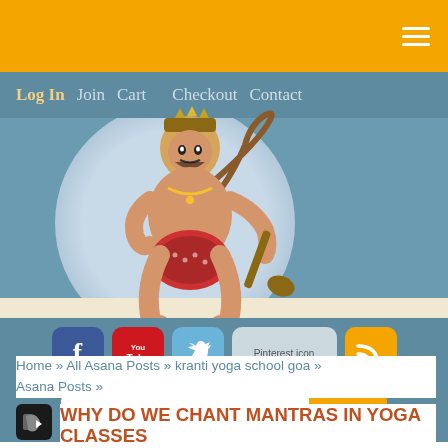Navigation menu icon (hamburger)
Log In  Join  Cart  Checkout  Contact
[Figure (illustration): Illustrated figure of Hanuman deity in traditional attire holding a mace, seated on a yoga mat, against a circular blue-grey background on a teal hero banner]
[Figure (infographic): Social media icons row: Facebook, YouTube, Twitter, Pinterest icon (broken image), RSS feed icon on teal background]
Enter your keywords
Home » All Asana Posts » kranti yoga school goa » Asana Posts »
WHY DO WE CHANT MANTRAS IN YOGA CLASSES